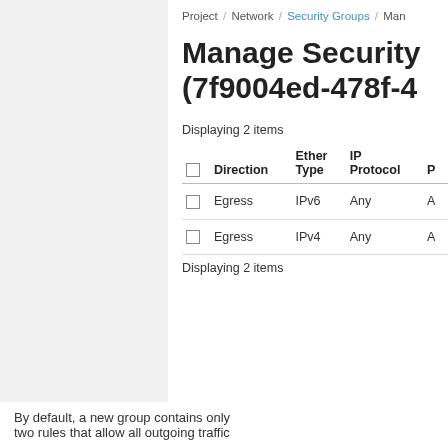Project / Network / Security Groups / Man
Manage Security (7f9004ed-478f-4
Displaying 2 items
|  | Direction | Ether Type | IP Protocol | P |
| --- | --- | --- | --- | --- |
|  | Egress | IPv6 | Any | A |
|  | Egress | IPv4 | Any | A |
Displaying 2 items
By default, a new group contains only two rules that allow all outgoing traffic